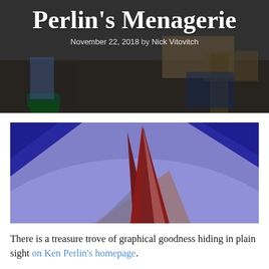Perlin's Menagerie
November 22, 2018 by Nick Vitovitch
[Figure (illustration): Abstract 3D geometric illustration with a large light purple/lavender background, dark blue triangular shapes in the upper-left and upper-right corners, and a central cluster of dark red/maroon and muted pink/gray triangular prism shapes pointing upward.]
There is a treasure trove of graphical goodness hiding in plain sight on Ken Perlin's homepage.
Illustrations, experiments, examples, teaching aids, simple games, you name it; for any topic there is a blog